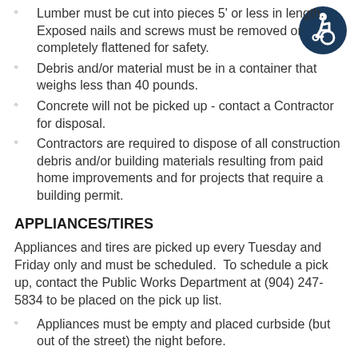Lumber must be cut into pieces 5' or less in length. Exposed nails and screws must be removed or completely flattened for safety.
[Figure (illustration): Accessibility icon — white wheelchair user symbol on dark blue circle background]
Debris and/or material must be in a container that weighs less than 40 pounds.
Concrete will not be picked up - contact a Contractor for disposal.
Contractors are required to dispose of all construction debris and/or building materials resulting from paid home improvements and for projects that require a building permit.
APPLIANCES/TIRES
Appliances and tires are picked up every Tuesday and Friday only and must be scheduled.  To schedule a pick up, contact the Public Works Department at (904) 247-5834 to be placed on the pick up list.
Appliances must be empty and placed curbside (but out of the street) the night before.